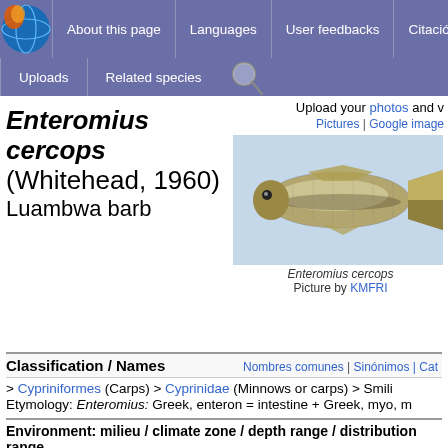[Figure (screenshot): Website navigation bar with logo and links: About this page, Languages, User feedbacks, Citación, Uploads, Related species, search icon]
Enteromius cercops (Whitehead, 1960)
Luambwa barb
Upload your photos and v
Pictures | Google image
[Figure (photo): Photo of Enteromius cercops fish, a small silvery fish with dark scales, Picture by KMFRI]
Enteromius cercops
Picture by KMFRI
Classification / Names
Nombres comunes | Sinónimos | Cat
> Cypriniformes (Carps) > Cyprinidae (Minnows or carps) > Smili
Etymology: Enteromius: Greek, enteron = intestine + Greek, myo, m
Environment: milieu / climate zone / depth range / distribution range
agua dulce bentopelágico  Tropical